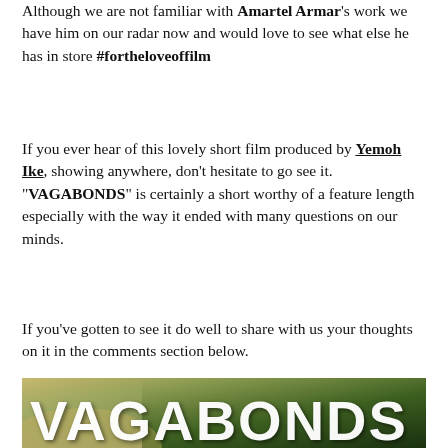Although we are not familiar with Amartel Armar's work we have him on our radar now and would love to see what else he has in store #fortheloveoffilm
If you ever hear of this lovely short film produced by Yemoh Ike, showing anywhere, don't hesitate to go see it. "VAGABONDS" is certainly a short worthy of a feature length especially with the way it ended with many questions on our minds.
If you've gotten to see it do well to share with us your thoughts on it in the comments section below.
[Figure (photo): Movie poster / title card showing the word VAGABONDS in large white bold text over a dark forest/nature background with misty lighting]